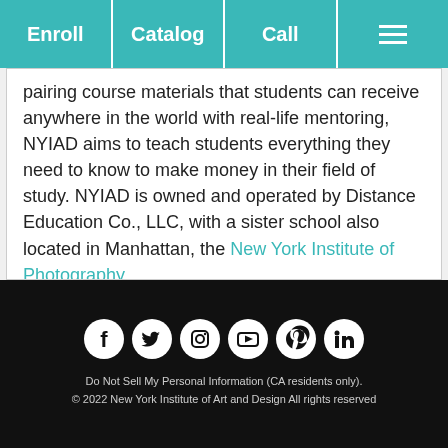Enroll | Catalog | Call | Menu
pairing course materials that students can receive anywhere in the world with real-life mentoring, NYIAD aims to teach students everything they need to know to make money in their field of study. NYIAD is owned and operated by Distance Education Co., LLC, with a sister school also located in Manhattan, the New York Institute of Photography.
[Figure (other): Social media icons row: Facebook, Twitter, Instagram, YouTube, Pinterest, LinkedIn]
Do Not Sell My Personal Information (CA residents only).
© 2022 New York Institute of Art and Design All rights reserved